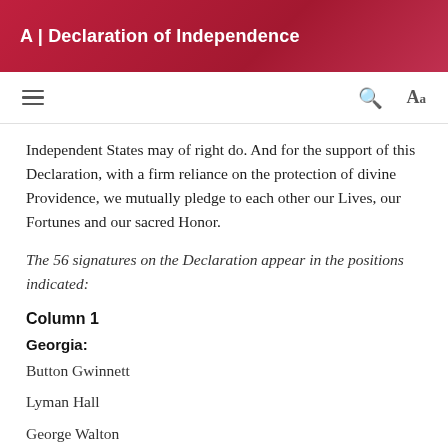A | Declaration of Independence
Independent States may of right do. And for the support of this Declaration, with a firm reliance on the protection of divine Providence, we mutually pledge to each other our Lives, our Fortunes and our sacred Honor.
The 56 signatures on the Declaration appear in the positions indicated:
Column 1
Georgia:
Button Gwinnett
Lyman Hall
George Walton
Column 2